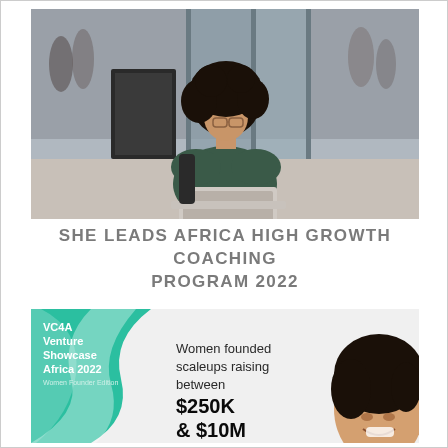[Figure (photo): Photo of a young Black woman with curly hair and glasses working on a laptop outdoors, in front of a glass storefront with people walking in background.]
SHE LEADS AFRICA HIGH GROWTH COACHING PROGRAM 2022
[Figure (infographic): VC4A Venture Showcase Africa 2022 Women Founder Edition banner. Features teal circular swoosh graphic and woman with curly hair. Text reads: Women founded scaleups raising between $250K & $10M]